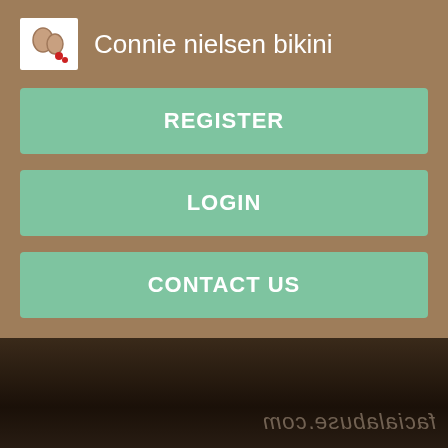Connie nielsen bikini
REGISTER
LOGIN
CONTACT US
[Figure (photo): Dark background photo with mirrored watermark text reading facialabuse.com]
You must be logged in to post wall comments. Photos Ass Parade Caroline. Add to Favorites Report Photos Rating. Please or up free.
[Figure (photo): Partially visible photo at bottom of page]